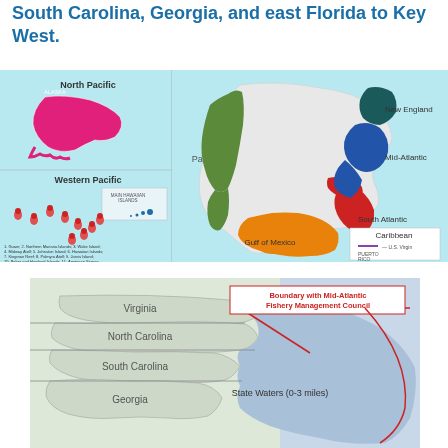South Carolina, Georgia, and east Florida to Key West.
[Figure (map): Map of NOAA fishery management council regions across the United States, showing North Pacific (Alaska), Western Pacific (Hawaii and Pacific Islands), Pacific (West Coast), New England, Mid-Atlantic, South Atlantic, Gulf of Mexico, and Caribbean regions, each colored differently.]
[Figure (map): Detailed map of the South Atlantic Fishery Management Council region showing Virginia, North Carolina, South Carolina, and Georgia coastlines with State Waters (0-3 miles) and Boundary with Mid-Atlantic Fishery Management Council indicated.]